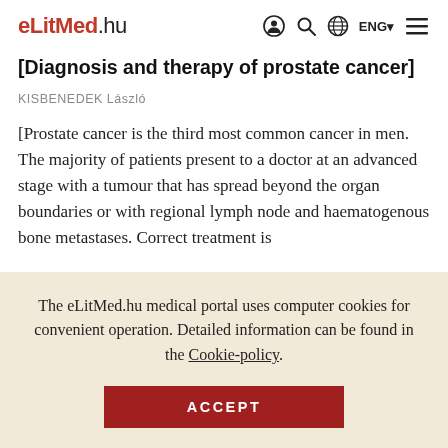eLitMed.hu — navigation header with logo, user icon, search icon, globe icon, ENG language selector, hamburger menu
[Diagnosis and therapy of prostate cancer]
KISBENEDEK László
[Prostate cancer is the third most common cancer in men. The majority of patients present to a doctor at an advanced stage with a tumour that has spread beyond the organ boundaries or with regional lymph node and haematogenous bone metastases. Correct treatment is
The eLitMed.hu medical portal uses computer cookies for convenient operation. Detailed information can be found in the Cookie-policy.
ACCEPT